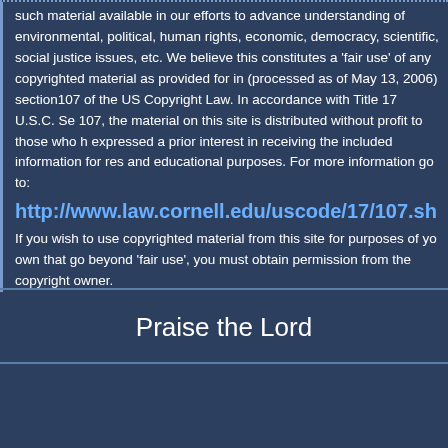such material available in our efforts to advance understanding of environmental, political, human rights, economic, democracy, scientific, social justice issues, etc. We believe this constitutes a 'fair use' of any copyrighted material as provided for in (processed as of May 13, 2006) section107 of the US Copyright Law. In accordance with Title 17 U.S.C. Se 107, the material on this site is distributed without profit to those who h expressed a prior interest in receiving the included information for res and educational purposes. For more information go to:
http://www.law.cornell.edu/uscode/17/107.sh
If you wish to use copyrighted material from this site for purposes of yo own that go beyond 'fair use', you must obtain permission from the copyright owner.
Praise the Lord